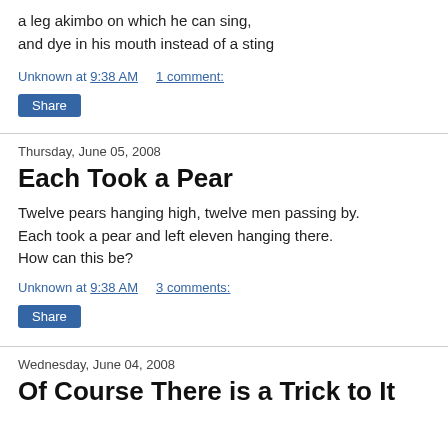a leg akimbo on which he can sing,
and dye in his mouth instead of a sting
Unknown at 9:38 AM    1 comment:
[Figure (other): Share button]
Thursday, June 05, 2008
Each Took a Pear
Twelve pears hanging high, twelve men passing by. Each took a pear and left eleven hanging there. How can this be?
Unknown at 9:38 AM    3 comments:
[Figure (other): Share button]
Wednesday, June 04, 2008
Of Course There is a Trick to It